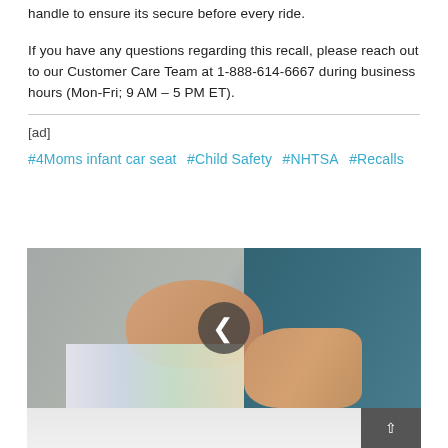handle to ensure its secure before every ride.
If you have any questions regarding this recall, please reach out to our Customer Care Team at 1-888-614-6667 during business hours (Mon-Fri; 9 AM – 5 PM ET).
[ad]
#4Moms infant car seat  #Child Safety  #NHTSA  #Recalls
[Figure (photo): Photo of a newborn baby sleeping, being held, with colorful blanket. Navigation arrow circle overlay visible.]